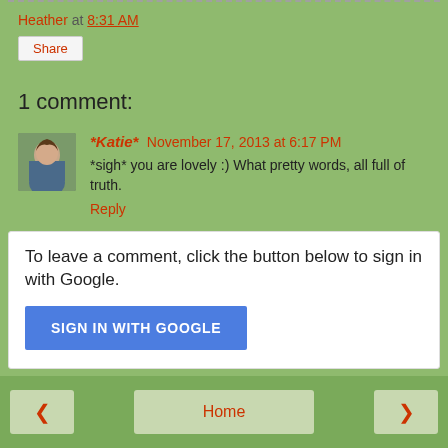Heather at 8:31 AM
Share
1 comment:
*Katie* November 17, 2013 at 6:17 PM
*sigh* you are lovely :) What pretty words, all full of truth.
Reply
To leave a comment, click the button below to sign in with Google.
SIGN IN WITH GOOGLE
< Home >